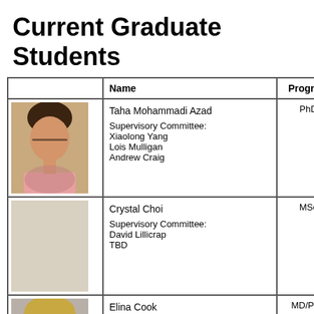Current Graduate Students
|  | Name | Program |  |
| --- | --- | --- | --- |
| [photo: Taha Mohammadi Azad] | Taha Mohammadi Azad
Supervisory Committee:
Xiaolong Yang
Lois Mulligan
Andrew Craig | PhD | tah... |
|  | Crystal Choi
Supervisory Committee:
David Lillicrap
TBD | MSc | 1... |
| [photo: Elina Cook] | Elina Cook
Supervisory Committee:
Michael Rauh
Neil Renwick
Harriet Feilotter | MD/PhD | eli... |